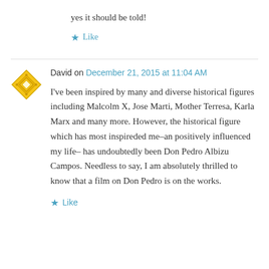yes it should be told!
★ Like
David on December 21, 2015 at 11:04 AM
I've been inspired by many and diverse historical figures including Malcolm X, Jose Marti, Mother Terresa, Karla Marx and many more. However, the historical figure which has most inspireded me–an positively influenced my life– has undoubtedly been Don Pedro Albizu Campos. Needless to say, I am absolutely thrilled to know that a film on Don Pedro is on the works.
★ Like